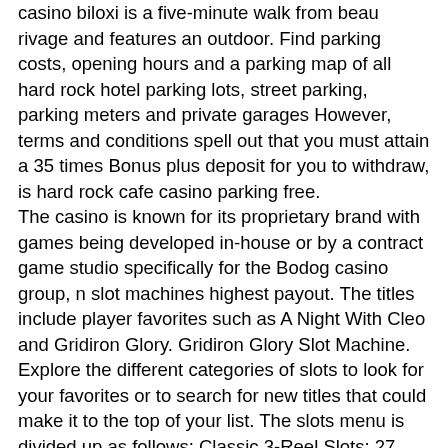casino biloxi is a five-minute walk from beau rivage and features an outdoor. Find parking costs, opening hours and a parking map of all hard rock hotel parking lots, street parking, parking meters and private garages However, terms and conditions spell out that you must attain a 35 times Bonus plus deposit for you to withdraw, is hard rock cafe casino parking free.
The casino is known for its proprietary brand with games being developed in-house or by a contract game studio specifically for the Bodog casino group, n slot machines highest payout. The titles include player favorites such as A Night With Cleo and Gridiron Glory. Gridiron Glory Slot Machine. Explore the different categories of slots to look for your favorites or to search for new titles that could make it to the top of your list. The slots menu is divided up as follows: Classic 3-Reel Slots: 27 variants including player favorites Five Time Wins and Big Cash Win.